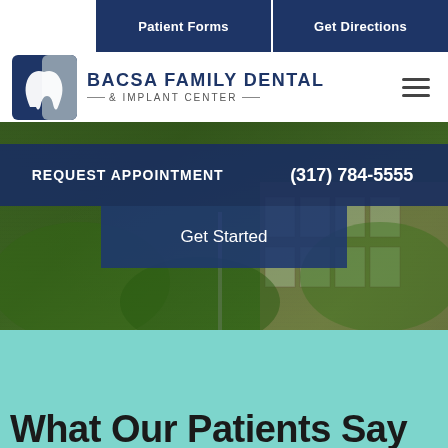Patient Forms | Get Directions
[Figure (logo): Bacsa Family Dental & Implant Center logo with tooth icon]
BACSA FAMILY DENTAL & IMPLANT CENTER
[Figure (screenshot): Dental office exterior building photo with green trees and landscaping]
REQUEST APPOINTMENT
(317) 784-5555
Get Started
What Our Patients Say